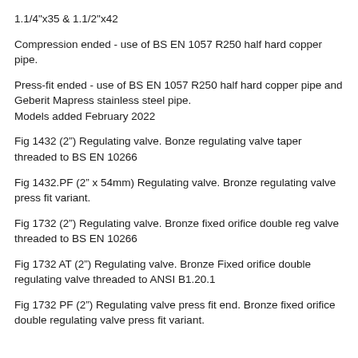1.1/4"x35 & 1.1/2"x42
Compression ended - use of BS EN 1057 R250 half hard copper pipe.
Press-fit ended - use of BS EN 1057 R250 half hard copper pipe and Geberit Mapress stainless steel pipe. Models added February 2022
Fig 1432 (2”) Regulating valve. Bonze regulating valve taper threaded to BS EN 10266
Fig 1432.PF (2” x 54mm) Regulating valve. Bronze regulating valve press fit variant.
Fig 1732 (2”) Regulating valve. Bronze fixed orifice double reg valve threaded to BS EN 10266
Fig 1732 AT (2”) Regulating valve. Bronze Fixed orifice double regulating valve threaded to ANSI B1.20.1
Fig 1732 PF (2”) Regulating valve press fit end. Bronze fixed orifice double regulating valve press fit variant.